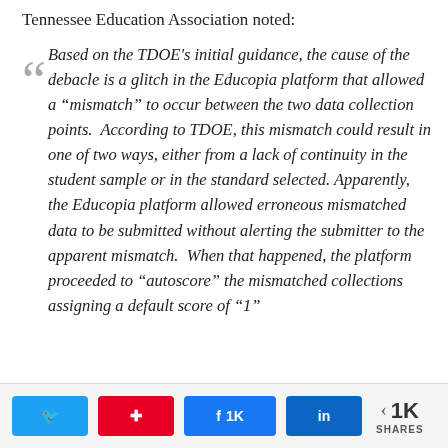Tennessee Education Association noted:
Based on the TDOE's initial guidance, the cause of the debacle is a glitch in the Educopia platform that allowed a "mismatch" to occur between the two data collection points.  According to TDOE, this mismatch could result in one of two ways, either from a lack of continuity in the student sample or in the standard selected.  Apparently, the Educopia platform allowed erroneous mismatched data to be submitted without alerting the submitter to the apparent mismatch.  When that happened, the platform proceeded to "autoscore" the mismatched collections assigning a default score of "1"